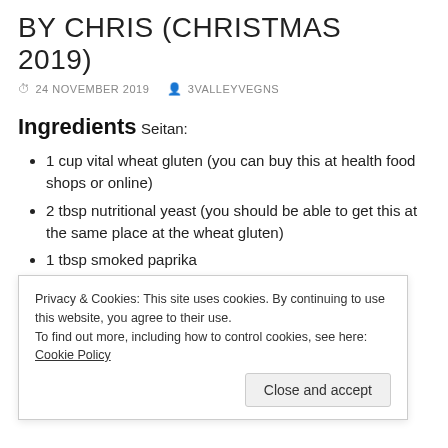BY CHRIS (CHRISTMAS 2019)
24 NOVEMBER 2019   3VALLEYVEGNS
Ingredients
Seitan:
1 cup vital wheat gluten (you can buy this at health food shops or online)
2 tbsp nutritional yeast (you should be able to get this at the same place at the wheat gluten)
1 tbsp smoked paprika
Privacy & Cookies: This site uses cookies. By continuing to use this website, you agree to their use.
To find out more, including how to control cookies, see here: Cookie Policy
Close and accept